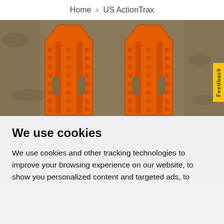Home > US ActionTrax
[Figure (photo): Two orange plastic traction boards (ActionTrax) lying on sandy/dirt ground, viewed from above. The boards have a grid pattern with studs and cutout handles.]
We use cookies
We use cookies and other tracking technologies to improve your browsing experience on our website, to show you personalized content and targeted ads, to